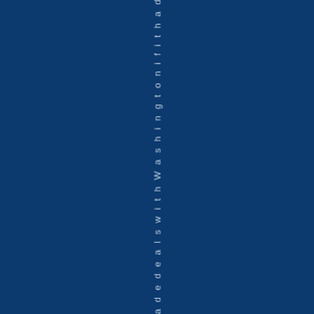deals with Washington on if it had t